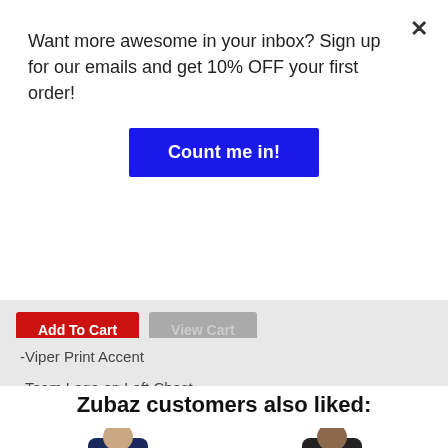Want more awesome in your inbox? Sign up for our emails and get 10% OFF your first order!
Count me in!
Add To Cart
View Cart
-Viper Print Accent
-Team Logo on Left Chest
-88% Polyester/12% Spandex
Zubaz customers also liked:
[Figure (photo): Product photo of a man wearing a dark blue jacket]
[Figure (photo): Product photo of a man wearing a black jacket]